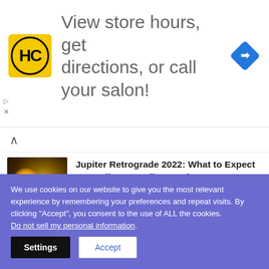[Figure (screenshot): Advertisement banner with HC logo (yellow circle with HC text), large gray text 'View store hours, get directions, or call your salon!', and a blue diamond navigation icon on the right.]
[Figure (photo): Article thumbnail: glowing planet (Jupiter) in dark space with orange/golden light.]
Jupiter Retrograde 2022: What to Expect According to Vedic Astrology?
[Figure (photo): Article thumbnail: person against green nature background.]
Importance of Diet in Meditation and Yoga Asana
We use cookies on our website to give you the most relevant experience by remembering your preferences and repeat visits. By clicking “Accept”, you consent to the use of ALL the cookies.
Do not sell my personal information.